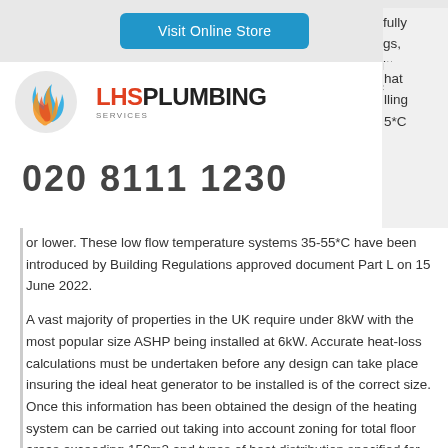[Figure (logo): LHS Plumbing Services logo with orange/blue flame swirl and text]
020 8111 1230
or lower. These low flow temperature systems 35-55*C have been introduced by Building Regulations approved document Part L on 15 June 2022.
A vast majority of properties in the UK require under 8kW with the most popular size ASHP being installed at 6kW. Accurate heat-loss calculations must be undertaken before any design can take place insuring the ideal heat generator to be installed is of the correct size. Once this information has been obtained the design of the heating system can be carried out taking into account zoning for total floor areas exceeding 150m2 and types of heat distribution specified for the property.